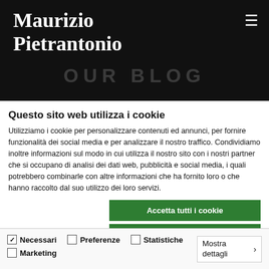Maurizio Pietrantonio
OUR BLOG
Questo sito web utilizza i cookie
Utilizziamo i cookie per personalizzare contenuti ed annunci, per fornire funzionalità dei social media e per analizzare il nostro traffico. Condividiamo inoltre informazioni sul modo in cui utilizza il nostro sito con i nostri partner che si occupano di analisi dei dati web, pubblicità e social media, i quali potrebbero combinarle con altre informazioni che ha fornito loro o che hanno raccolto dal suo utilizzo dei loro servizi.
Accetta tutti i cookie
Accetta selezionati
Usa solo i cookie necessari
Necessari  Preferenze  Statistiche  Marketing  Mostra dettagli